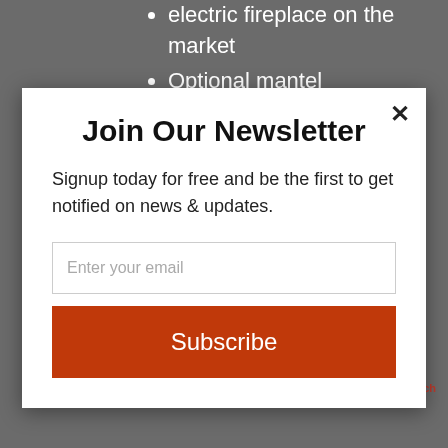electric fireplace on the market
Optional mantel surround creates a
Join Our Newsletter
Signup today for free and be the first to get notified on news & updates.
Enter your email
Subscribe
temperature you want and when you want it
powered by MailMunch